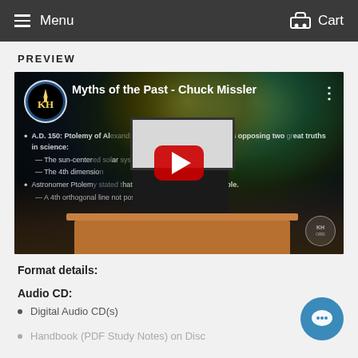Menu   Cart
PREVIEW
[Figure (screenshot): YouTube video thumbnail for 'Myths of the Past - Chuck Missler'. Shows an elderly man at a podium with a slide about Ptolemy of Alexandria visible in the background. A large red YouTube play button is centered over the video. The slide text reads: A.D. 150: Ptolemy of Alexandria has gone down in history as opposing two great truths in science: — The sun-centered solar system — The 4th dimension; Astronomer Ptolemy stated that a 4th dimension is impossible. — A 4th orthogonal line not possible? (unvisualizable.)]
Format details:
Audio CD:
Digital Audio CD(s)
Handbook (PDF Study Notes) on Disc